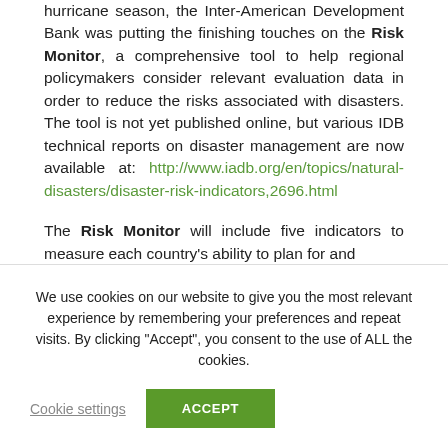hurricane season, the Inter-American Development Bank was putting the finishing touches on the Risk Monitor, a comprehensive tool to help regional policymakers consider relevant evaluation data in order to reduce the risks associated with disasters. The tool is not yet published online, but various IDB technical reports on disaster management are now available at: http://www.iadb.org/en/topics/natural-disasters/disaster-risk-indicators,2696.html
The Risk Monitor will include five indicators to measure each country's ability to plan for and
We use cookies on our website to give you the most relevant experience by remembering your preferences and repeat visits. By clicking "Accept", you consent to the use of ALL the cookies.
Cookie settings
ACCEPT